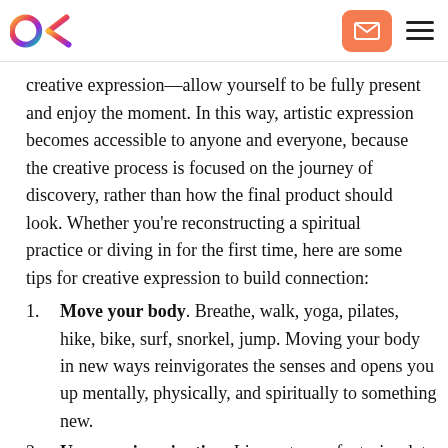OK logo, email button, hamburger menu
creative expression—allow yourself to be fully present and enjoy the moment. In this way, artistic expression becomes accessible to anyone and everyone, because the creative process is focused on the journey of discovery, rather than how the final product should look. Whether you're reconstructing a spiritual practice or diving in for the first time, here are some tips for creative expression to build connection:
Move your body. Breathe, walk, yoga, pilates, hike, bike, surf, snorkel, jump. Moving your body in new ways reinvigorates the senses and opens you up mentally, physically, and spiritually to something new.
Use your imagination. Live out your fantasies, let your imagination run wild, and make art. The process of creating can lead to a path of spiritual discovery. Color,